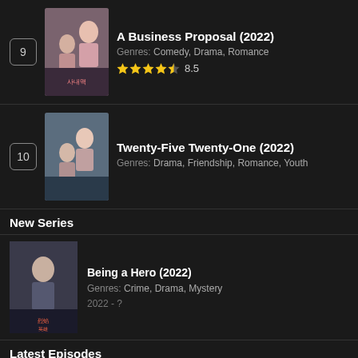9 - A Business Proposal (2022) - Genres: Comedy, Drama, Romance - Rating: 8.5
10 - Twenty-Five Twenty-One (2022) - Genres: Drama, Friendship, Romance, Youth
New Series
Being a Hero (2022) - Genres: Crime, Drama, Mystery - 2022 - ?
Latest Episodes
The Eclipse (2022) Episode 3
Yukionna to Kani wo Kuu (2022) Episode 9
Yukionna to Kani wo Kuu (2022) Episode 8